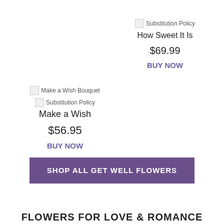[Figure (photo): Broken image placeholder for 'Substitution Policy']
How Sweet It Is
$69.99
BUY NOW
[Figure (photo): Broken image placeholder for 'Make a Wish Bouquet']
[Figure (photo): Broken image placeholder for 'Substitution Policy']
Make a Wish
$56.95
BUY NOW
SHOP ALL GET WELL FLOWERS
FLOWERS FOR LOVE & ROMANCE